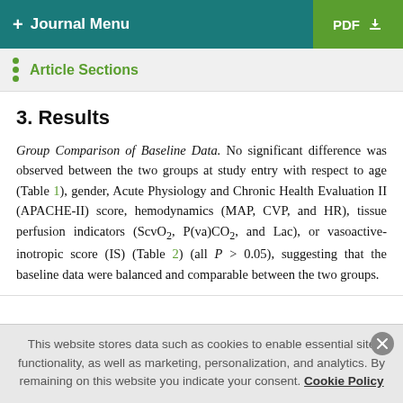+ Journal Menu    PDF ↓
Article Sections
3. Results
Group Comparison of Baseline Data. No significant difference was observed between the two groups at study entry with respect to age (Table 1), gender, Acute Physiology and Chronic Health Evaluation II (APACHE-II) score, hemodynamics (MAP, CVP, and HR), tissue perfusion indicators (ScvO2, P(va)CO2, and Lac), or vasoactive-inotropic score (IS) (Table 2) (all P > 0.05), suggesting that the baseline data were balanced and comparable between the two groups.
This website stores data such as cookies to enable essential site functionality, as well as marketing, personalization, and analytics. By remaining on this website you indicate your consent. Cookie Policy